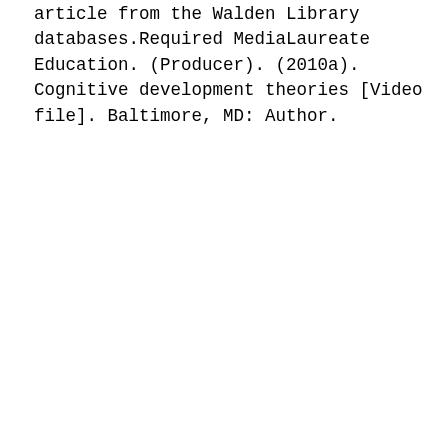article from the Walden Library databases.Required MediaLaureate Education. (Producer). (2010a). Cognitive development theories [Video file]. Baltimore, MD: Author.